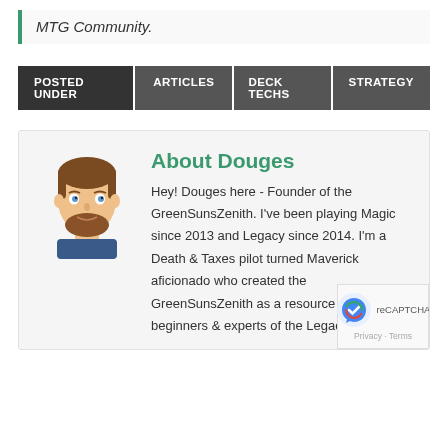MTG Community.
POSTED UNDER  ARTICLES  DECK TECHS  STRATEGY
About Douges
Hey! Douges here - Founder of the GreenSunsZenith. I've been playing Magic since 2013 and Legacy since 2014. I'm a Death & Taxes pilot turned Maverick aficionado who created the GreenSunsZenith as a resource for both beginners & experts of the Legacy Maverick archetype. I've been fortunate enough to be a guest on several Eternal &
[Figure (illustration): Cartoon avatar of a man with brown hair and beard]